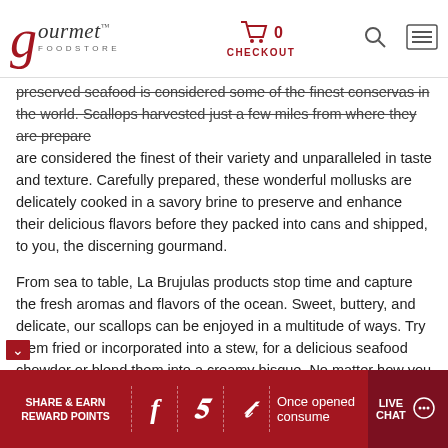Gourmet Foodstore — CHECKOUT — Search — Menu
preserved seafood is considered some of the finest conservas in the world. Scallops harvested just a few miles from where they are prepared are considered the finest of their variety and unparalleled in taste and texture. Carefully prepared, these wonderful mollusks are delicately cooked in a savory brine to preserve and enhance their delicious flavors before they packed into cans and shipped, to you, the discerning gourmand.
From sea to table, La Brujulas products stop time and capture the fresh aromas and flavors of the ocean. Sweet, buttery, and delicate, our scallops can be enjoyed in a multitude of ways. Try them fried or incorporated into a stew, for a delicious seafood chowder or blend them into a creamy bisque. No matter how you prepare them, these delectable Spanish scallops are versatile enough to be added into any meal, be that, breakfast, lunch, or dinner.
Ingredients: Small scallops, olive oil, tomato, onion, red pepper, wine, salt and spices.
SHARE & EARN REWARD POINTS — Facebook — Pinterest — Twitter — Once opened consume — LIVE CHAT